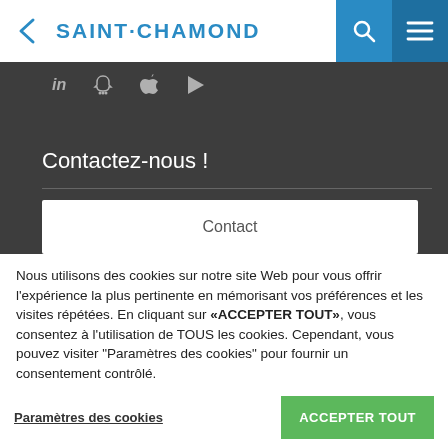SAINT·CHAMOND
[Figure (screenshot): Social media icons row: LinkedIn (in), Snapchat, Apple, Google Play icons on dark background]
Contactez-nous !
Contact
Nous utilisons des cookies sur notre site Web pour vous offrir l'expérience la plus pertinente en mémorisant vos préférences et les visites répétées. En cliquant sur «ACCEPTER TOUT», vous consentez à l'utilisation de TOUS les cookies. Cependant, vous pouvez visiter "Paramètres des cookies" pour fournir un consentement contrôlé.
Paramètres des cookies | ACCEPTER TOUT